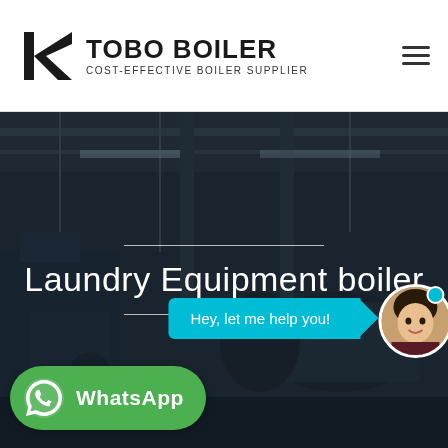[Figure (logo): Tobo Boiler logo with triangular black icon and company name]
TOBO BOILER
COST-EFFECTIVE BOILER SUPPLIER
[Figure (photo): Industrial boiler manufacturing facility with large equipment and overhead cranes, dark overlay with text]
Laundry Equipment boiler
Hey, let me help you!
WhatsApp